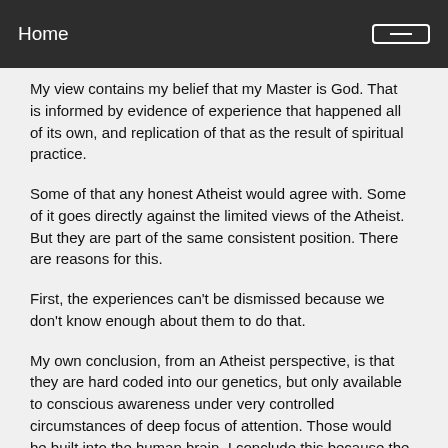Home
My view contains my belief that my Master is God. That is informed by evidence of experience that happened all of its own, and replication of that as the result of spiritual practice.
Some of that any honest Atheist would agree with. Some of it goes directly against the limited views of the Atheist. But they are part of the same consistent position. There are reasons for this.
First, the experiences can't be dismissed because we don't know enough about them to do that.
My own conclusion, from an Atheist perspective, is that they are hard coded into our genetics, but only available to conscious awareness under very controlled circumstances of deep focus of attention. Those would be built into the human brain. I conclude this because the experiences, for example, of seeing stars and constellations from space, and hearing ear-splitting and deep sounds that pulled me up into and beyond these, happened before I knew anything about mysticism. The